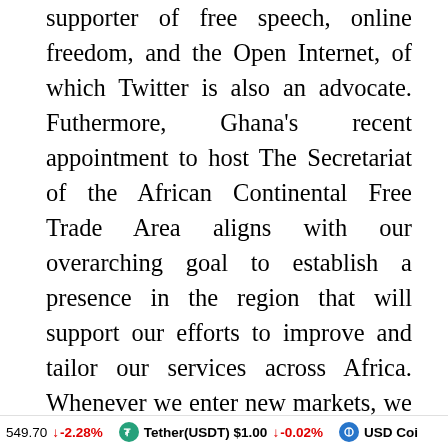supporter of free speech, online freedom, and the Open Internet, of which Twitter is also an advocate. Futhermore, Ghana's recent appointment to host The Secretariat of the African Continental Free Trade Area aligns with our overarching goal to establish a presence in the region that will support our efforts to improve and tailor our services across Africa. Whenever we enter new markets, we work hard to ensure that we are not just investing in the talent that we hire, but also investing in local communities and the social fabrics that support them…We still have much to learn but we are excited to listen, learn and engage. Public conversation is essential to solving problems, building shared ideas, and pushing us all forward together. We can't wait for the next step on
549.70 ↓ -2.28%   Tether(USDT) $1.00 ↓ -0.02%   USD Coi